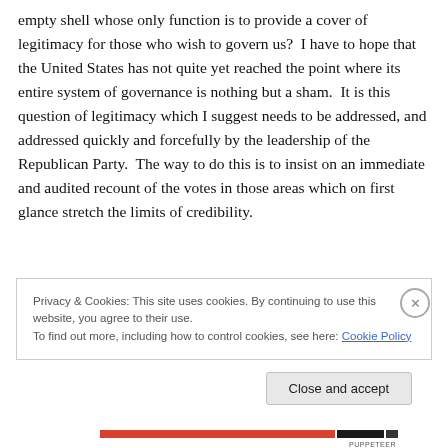empty shell whose only function is to provide a cover of legitimacy for those who wish to govern us?  I have to hope that the United States has not quite yet reached the point where its entire system of governance is nothing but a sham.  It is this question of legitimacy which I suggest needs to be addressed, and addressed quickly and forcefully by the leadership of the Republican Party.  The way to do this is to insist on an immediate and audited recount of the votes in those areas which on first glance stretch the limits of credibility.
Privacy & Cookies: This site uses cookies. By continuing to use this website, you agree to their use.
To find out more, including how to control cookies, see here: Cookie Policy
Close and accept